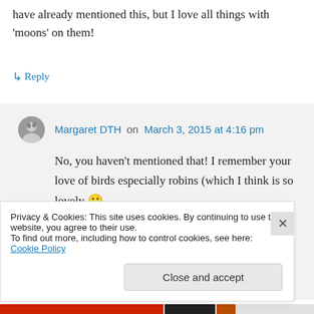have already mentioned this, but I love all things with 'moons' on them!
↳ Reply
Margaret DTH on March 3, 2015 at 4:16 pm
No, you haven't mentioned that! I remember your love of birds especially robins (which I think is so lovely 🙂
↳ Reply
Privacy & Cookies: This site uses cookies. By continuing to use this website, you agree to their use.
To find out more, including how to control cookies, see here: Cookie Policy
Close and accept